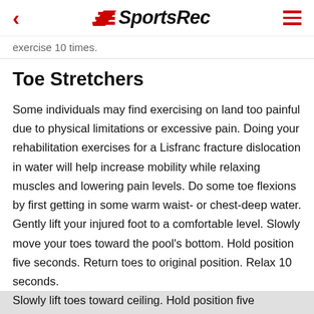SportsRec
exercise 10 times.
Toe Stretchers
Some individuals may find exercising on land too painful due to physical limitations or excessive pain. Doing your rehabilitation exercises for a Lisfranc fracture dislocation in water will help increase mobility while relaxing muscles and lowering pain levels. Do some toe flexions by first getting in some warm waist- or chest-deep water. Gently lift your injured foot to a comfortable level. Slowly move your toes toward the pool’s bottom. Hold position five seconds. Return toes to original position. Relax 10 seconds. Slowly lift toes toward ceiling. Hold position five seconds. Repeat